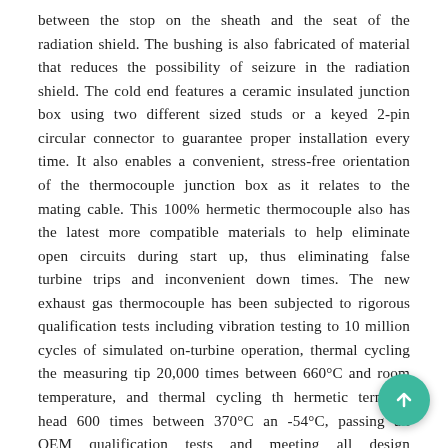between the stop on the sheath and the seat of the radiation shield. The bushing is also fabricated of material that reduces the possibility of seizure in the radiation shield. The cold end features a ceramic insulated junction box using two different sized studs or a keyed 2-pin circular connector to guarantee proper installation every time. It also enables a convenient, stress-free orientation of the thermocouple junction box as it relates to the mating cable. This 100% hermetic thermocouple also has the latest more compatible materials to help eliminate open circuits during start up, thus eliminating false turbine trips and inconvenient down times. The new exhaust gas thermocouple has been subjected to rigorous qualification tests including vibration testing to 10 million cycles of simulated on-turbine operation, thermal cycling the measuring tip 20,000 times between 660°C and room temperature, and thermal cycling the hermetic terminal head 600 times between 370°C and -54°C, passing all OEM qualification tests and meeting all design specifications required by the OEM. The sensor is manufactured with an all welded construction